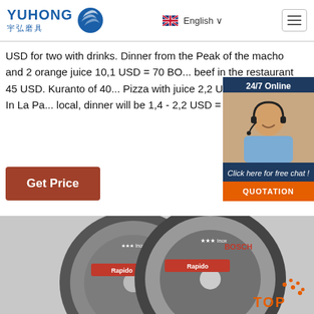[Figure (logo): YUHONG 宇弘磨具 logo with blue wave graphic and text]
English ∨
USD for two with drinks. Dinner from the Peak of the macho and 2 orange juice 10,1 USD = 70 BOB. Whole beef in the restaurant 45 USD. Kuranto of 40... Pizza with juice 2,2 USD = 15 BOB. In La Pa... local, dinner will be 1,4 - 2,2 USD = 10 - 15 B...
Get Price
24/7 Online
[Figure (photo): Customer service representative woman with headset, smiling]
Click here for free chat !
QUOTATION
[Figure (photo): Two Bosch Rapido Inox cutting discs overlapping, gray background]